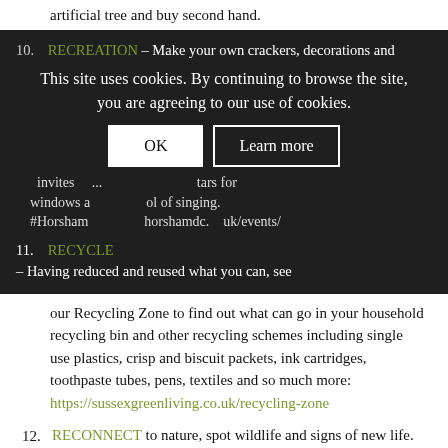artificial tree and buy second hand.
10. RECREATION – Make your own crackers, decorations and [cookie notice overlay] invites... windows and carol singing. #Horsham... horshamdc.gov.uk/events/
This site uses cookies. By continuing to browse the site, you are agreeing to our use of cookies.
11. RECYCLE – Having reduced and reused what you can, see our Recycling Zone to find out what can go in your household recycling bin and other recycling schemes including single use plastics, crisp and biscuit packets, ink cartridges, toothpaste tubes, pens, textiles and so much more: https://sussexgreenliving.co.uk/recycling-zone
12. RECONNECT to nature, spot wildlife and signs of new life. Christmas will be very different this year, let's bring comfort and joy to others by celebrating Christmas in quieter more thoughtful ways and looking forward to Spring.
Look Out for 24 Greener Instagram Posts by Horsham Youth Eco Forum